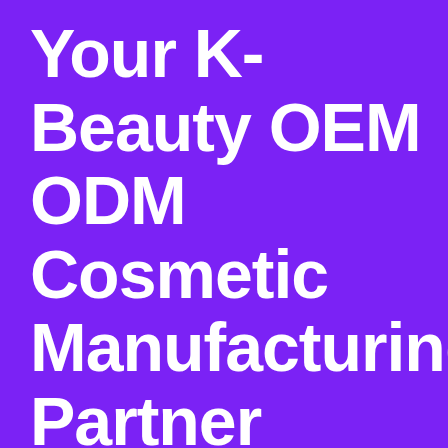Your K-Beauty OEM ODM Cosmetic Manufacturing Partner